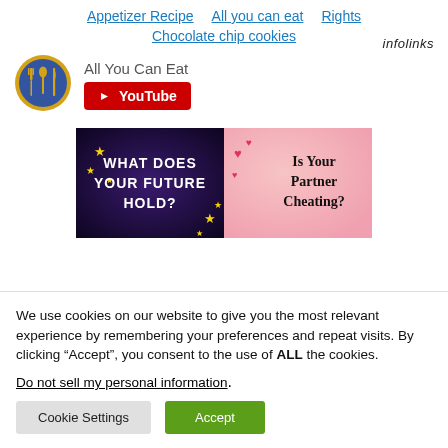Appetizer Recipe   All you can eat   Rights   Chocolate chip cookies   infolinks
[Figure (logo): Circular logo with gold border and blue background showing fork, spoon, and knife utensils in gold]
All You Can Eat
[Figure (other): Red YouTube subscribe button with play icon and 'YouTube' text]
[Figure (other): Two advertisement images side by side: left shows dark purple/blue background with stars and text 'What Does Your Future Hold?', right shows pink bokeh background with hearts and text 'Is Your Partner Cheating?']
We use cookies on our website to give you the most relevant experience by remembering your preferences and repeat visits. By clicking “Accept”, you consent to the use of ALL the cookies.
Do not sell my personal information.
Cookie Settings   Accept